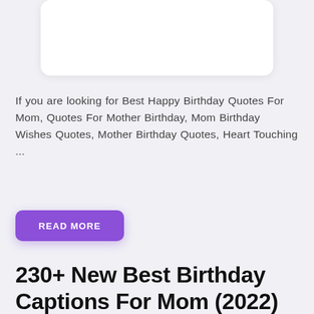[Figure (other): White rounded card / image placeholder at top of page]
If you are looking for Best Happy Birthday Quotes For Mom, Quotes For Mother Birthday, Mom Birthday Wishes Quotes, Mother Birthday Quotes, Heart Touching ...
READ MORE
230+ New Best Birthday Captions For Mom (2022)